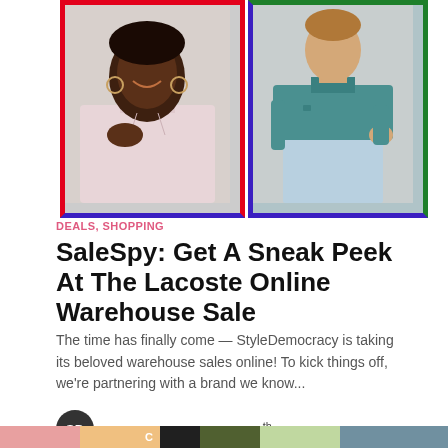[Figure (photo): Two fashion photos side by side: left shows a Black woman smiling, wearing a light pink Lacoste polo shirt, framed with red/blue border; right shows a woman in a teal Lacoste polo shirt with light jeans, framed with green/blue border.]
DEALS, SHOPPING
SaleSpy: Get A Sneak Peek At The Lacoste Online Warehouse Sale
The time has finally come — StyleDemocracy is taking its beloved warehouse sales online! To kick things off, we're partnering with a brand we know...
By StyleDemocracy, Jun 10th 2020
[Figure (photo): Partial bottom strip showing another fashion image, partially visible at the bottom of the page.]